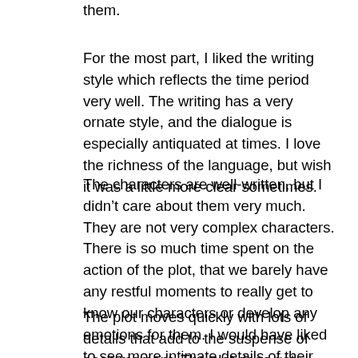them.
For the most part, I liked the writing style which reflects the time period very well. The writing has a very ornate style, and the dialogue is especially antiquated at times. I love the richness of the language, but wish it was a little more clear sometimes.
The characters are well-written, but I didn't care about them very much. They are not very complex characters. There is so much time spent on the action of the plot, that we barely have any restful moments to really get to know our characters or develop any emotions for them. I would have liked to see more intimate details of their friendships and family relationships. There are a few very powerful scenes where we do get glimpses of their emotional ties, but it wasn't enough to make me love the characters or be invested in their relationships.
The plot moves quickly with lots of details that add to the suspense of each moment. The plot does get repetitive though. They are captured, and then escape, and they get recaptured and are rescued, only to be recaptured again. Each